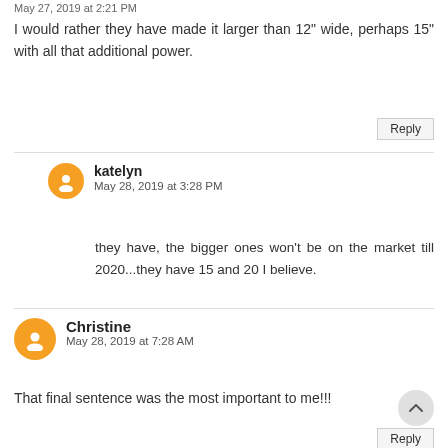May 27, 2019 at 2:21 PM
I would rather they have made it larger than 12" wide, perhaps 15" with all that additional power.
Reply
katelyn
May 28, 2019 at 3:28 PM
they have, the bigger ones won't be on the market till 2020...they have 15 and 20 I believe.
Christine
May 28, 2019 at 7:28 AM
That final sentence was the most important to me!!!
Reply